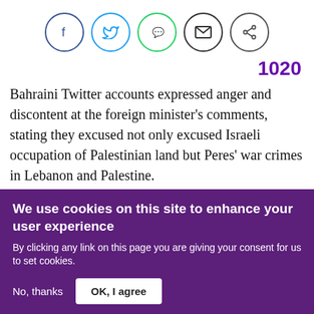[Figure (other): Social media sharing icons: Facebook (blue circle), Twitter (blue circle), WhatsApp (green circle), Email (black circle), Share (black circle)]
1020
Bahraini Twitter accounts expressed anger and discontent at the foreign minister's comments, stating they excused not only excused Israeli occupation of Palestinian land but Peres' war crimes in Lebanon and Palestine.
Khalel said: "How could he rest in peace while the cries of
We use cookies on this site to enhance your user experience
By clicking any link on this page you are giving your consent for us to set cookies.
No, thanks
OK, I agree